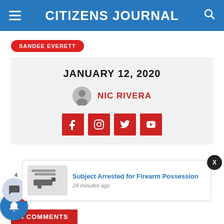CITIZENS JOURNAL
SANDEE EVERETT
JANUARY 12, 2020
NIC RIVERA
[Figure (screenshot): Social media icons: Facebook, Instagram, Twitter, YouTube — red square buttons]
[Figure (screenshot): Notification card: gun/firearm image with text 'Subject Arrested for Firearm Possession' and '24 minutes ago']
4 COMMENTS